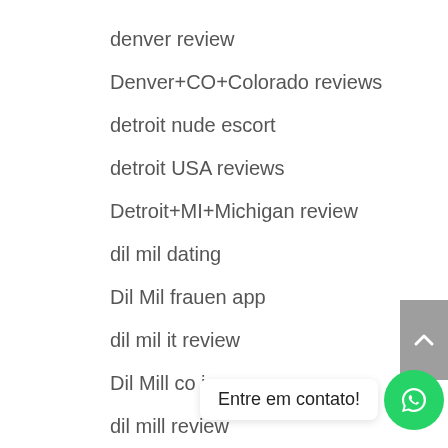denver review
Denver+CO+Colorado reviews
detroit nude escort
detroit USA reviews
Detroit+MI+Michigan review
dil mil dating
Dil Mil frauen app
dil mil it review
Dil Mill co je
dil mill review
Dine App inscribirse
Dine App visitors
direct installment loans
Entre em contato!